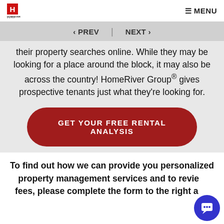HomeRiver Group — MENU
‹ PREV | NEXT ›
their property searches online. While they may be looking for a place around the block, it may also be across the country! HomeRiver Group® gives prospective tenants just what they're looking for.
GET YOUR FREE RENTAL ANALYSIS
To find out how we can provide you personalized property management services and to review fees, please complete the form to the right and